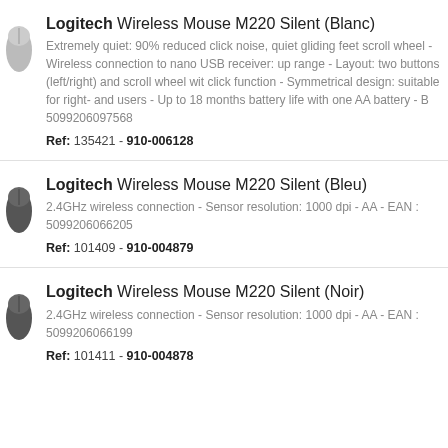Logitech Wireless Mouse M220 Silent (Blanc)
Extremely quiet: 90% reduced click noise, quiet gliding feet, scroll wheel - Wireless connection to nano USB receiver: up range - Layout: two buttons (left/right) and scroll wheel with click function - Symmetrical design: suitable for right- and users - Up to 18 months battery life with one AA battery - B 5099206097568
Ref: 135421 - 910-006128
Logitech Wireless Mouse M220 Silent (Bleu)
2.4GHz wireless connection - Sensor resolution: 1000 dpi - AA - EAN : 5099206066205
Ref: 101409 - 910-004879
Logitech Wireless Mouse M220 Silent (Noir)
2.4GHz wireless connection - Sensor resolution: 1000 dpi - AA - EAN : 5099206066199
Ref: 101411 - 910-004878